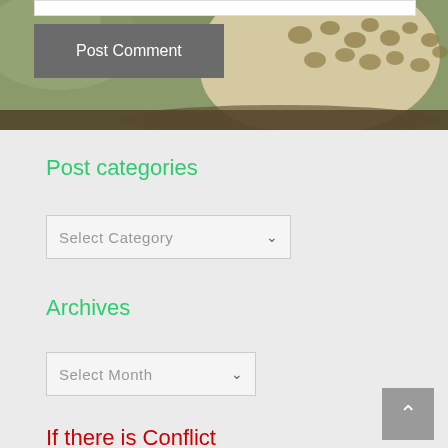[Figure (photo): Leopard/cheetah with spotted coat and green foliage background, hero image at top of page]
Post Comment
Post categories
Select Category
Archives
Select Month
If there is Conflict